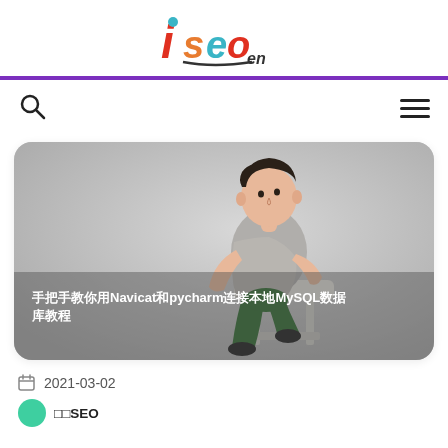[Figure (logo): iseo_en logo — stylized text with red 'i', teal/orange 'seo' and subscript 'en']
[Figure (illustration): Cartoon illustration of a young man sitting on a stool, wearing a grey shirt and green pants, on a grey gradient background. Overlaid bold white text in Chinese and English reading about Navicat, pycharm, MySQL connection.]
□□□□□□Navicat□pycharm□□□□□MySQL□□□□□
2021-03-02
□□SEO